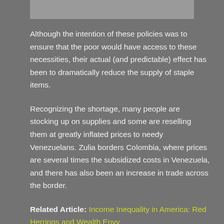Although the intention of these policies was to ensure that the poor would have access to these necessities, their actual (and predictable) effect has been to dramatically reduce the supply of staple items.
Recognizing the shortage, many people are stocking up on supplies and some are reselling them at greatly inflated prices to needy Venezuelans. Zulia borders Colombia, where prices are several times the subsidized costs in Venezuela, and there has also been an increase in trade across the border.
Related Article: Income Inequality in America: Red Herrings and Wealth Envy